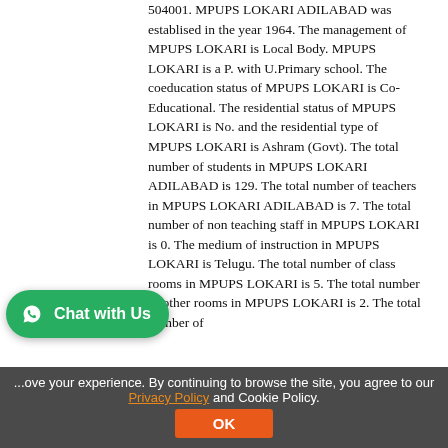504001. MPUPS LOKARI ADILABAD was establised in the year 1964. The management of MPUPS LOKARI is Local Body. MPUPS LOKARI is a P. with U.Primary school. The coeducation status of MPUPS LOKARI is Co-Educational. The residential status of MPUPS LOKARI is No. and the residential type of MPUPS LOKARI is Ashram (Govt). The total number of students in MPUPS LOKARI ADILABAD is 129. The total number of teachers in MPUPS LOKARI ADILABAD is 7. The total number of non teaching staff in MPUPS LOKARI is 0. The medium of instruction in MPUPS LOKARI is Telugu. The total number of class rooms in MPUPS LOKARI is 5. The total number of other rooms in MPUPS LOKARI is 2. The total number of
[Figure (other): WhatsApp Chat with Us button (green rounded pill button with WhatsApp logo icon)]
...ove your experience. By continuing to browse the site, you agree to our Privacy Policy and Cookie Policy.